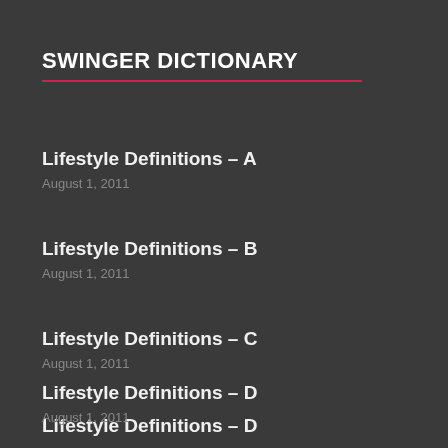SWINGER DICTIONARY
Lifestyle Definitions – A
August 1, 2011
Lifestyle Definitions – B
August 1, 2011
Lifestyle Definitions – C
August 1, 2011
Lifestyle Definitions – D
August 1, 2011
Lifestyle Definitions – E
August 1, 2011